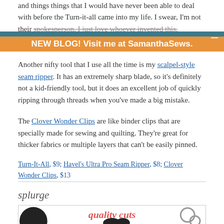and things things that I would have never been able to deal with before the Turn-it-all came into my life. I swear, I'm not their spokesperson, I just love whoever invented this.
NEW BLOG! Visit me at SamanthaSews.
Another nifty tool that I use all the time is my scalpel-style seam ripper. It has an extremely sharp blade, so it's definitely not a kid-friendly tool, but it does an excellent job of quickly ripping through threads when you've made a big mistake.
The Clover Wonder Clips are like binder clips that are specially made for sewing and quilting. They're great for thicker fabrics or multiple layers that can't be easily pinned.
Turn-It-All, $9; Havel's Ultra Pro Seam Ripper, $8; Clover Wonder Clips, $13
splurge
[Figure (photo): Image showing quality cuts scissors and sewing tools]